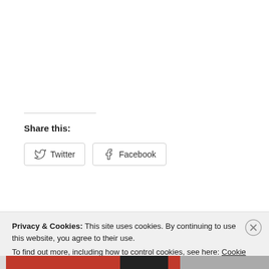Share this:
[Figure (screenshot): Social share buttons: Twitter and Facebook]
[Figure (screenshot): Like button with blue star icon]
Be the first to like this.
Privacy & Cookies: This site uses cookies. By continuing to use this website, you agree to their use. To find out more, including how to control cookies, see here: Cookie Policy
[Figure (screenshot): Close and accept button for cookie banner]